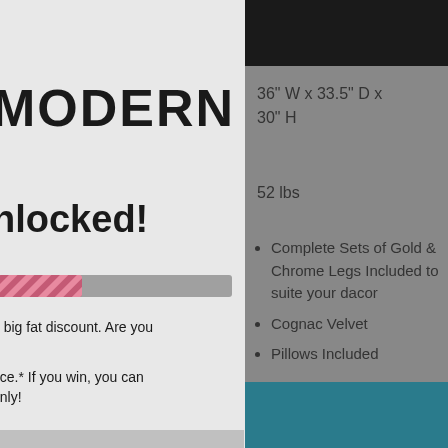ERS OVER $999 + FREE SHIPPING G25) AT CHECKOUT
MODERN
nlocked!
[Figure (infographic): Progress bar partially filled with pink diagonal stripes on gray background]
e big fat discount. Are you
nce.* If you win, you can only!
36" W x 33.5" D x 30" H
52 lbs
Complete Sets of Gold & Chrome Legs Included to suite your dacor
Cognac Velvet
Pillows Included
UCK
No, I don't feel lucky
D OUT